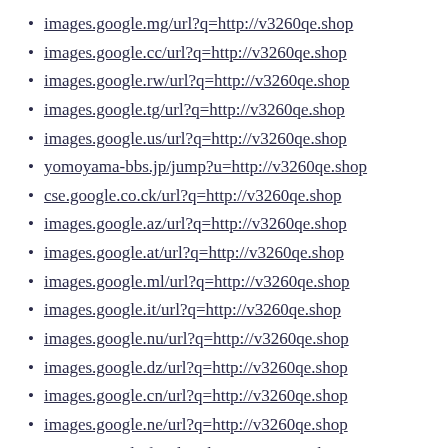images.google.mg/url?q=http://v3260qe.shop
images.google.cc/url?q=http://v3260qe.shop
images.google.rw/url?q=http://v3260qe.shop
images.google.tg/url?q=http://v3260qe.shop
images.google.us/url?q=http://v3260qe.shop
yomoyama-bbs.jp/jump?u=http://v3260qe.shop
cse.google.co.ck/url?q=http://v3260qe.shop
images.google.az/url?q=http://v3260qe.shop
images.google.at/url?q=http://v3260qe.shop
images.google.ml/url?q=http://v3260qe.shop
images.google.it/url?q=http://v3260qe.shop
images.google.nu/url?q=http://v3260qe.shop
images.google.dz/url?q=http://v3260qe.shop
images.google.cn/url?q=http://v3260qe.shop
images.google.ne/url?q=http://v3260qe.shop
images.google.fr/url?q=http://v3260qe.shop
www.google.co.ma/url?q=http://v3260qe.shop
cse.google.co.ao/url?q=http://v3260qe.shop
images.google.ki/url?q=http://v3260qe.shop